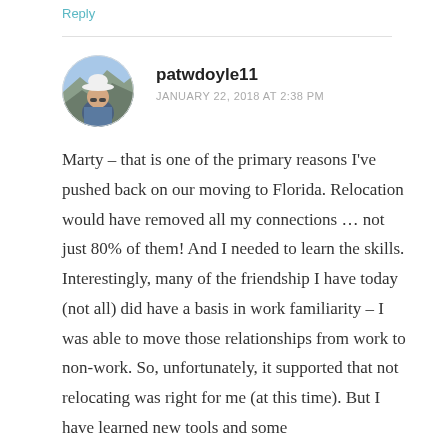Reply
[Figure (photo): Circular avatar photo of a person wearing a white hat outdoors with a rocky/mountain background]
patwdoyle11
JANUARY 22, 2018 AT 2:38 PM
Marty – that is one of the primary reasons I've pushed back on our moving to Florida. Relocation would have removed all my connections … not just 80% of them! And I needed to learn the skills. Interestingly, many of the friendship I have today (not all) did have a basis in work familiarity – I was able to move those relationships from work to non-work. So, unfortunately, it supported that not relocating was right for me (at this time). But I have learned new tools and some